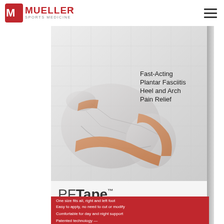Mueller Sports Medicine
[Figure (photo): Mueller PFTape Plantar Fasciitis Pain Relief System product box. Shows an anatomical illustration of a foot with tape applied, labeled 'Fast-Acting Plantar Fasciitis Heel and Arch Pain Relief'. Product name PFTape shown in large text. Red banner at bottom with bullet points.]
Fast-Acting Plantar Fasciitis Heel and Arch Pain Relief
PFTape™
Plantar Fasciitis Pain Relief System
One size fits all, right and left foot
Easy to apply, no need to cut or modify
Comfortable for day and night support
Patented technology — Different from kinesiology tape